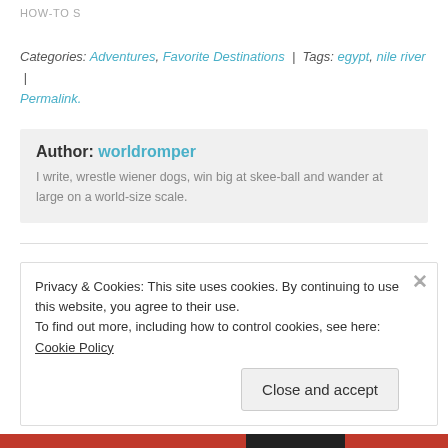HOW-TO S
Categories: Adventures, Favorite Destinations | Tags: egypt, nile river | Permalink.
Author: worldromper
I write, wrestle wiener dogs, win big at skee-ball and wander at large on a world-size scale.
Privacy & Cookies: This site uses cookies. By continuing to use this website, you agree to their use.
To find out more, including how to control cookies, see here: Cookie Policy
Close and accept